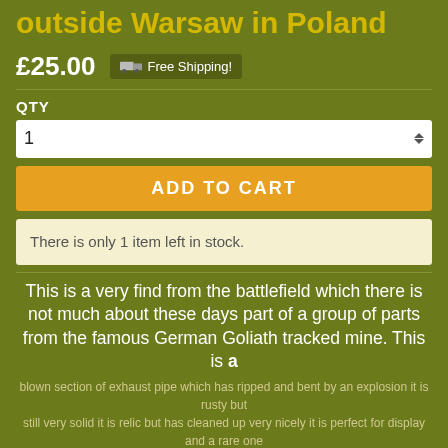outside Warsaw in Poland
£25.00   Free Shipping!
QTY
1
ADD TO CART
There is only 1 item left in stock.
This is a very find from the battlefield which there is not much about these days part of a group of parts from the famous German Goliath tracked mine. This is a blown section of exhaust pipe which has ripped and bent by an explosion it is rusty but still very solid it is relic but has cleaned up very nicely it is perfect for display and a rare one